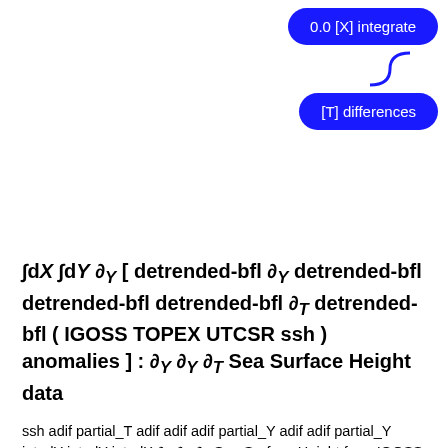[Figure (screenshot): Two blue rounded-rectangle buttons: '0.0 [X] integrate' and '[T] differences', connected by a squiggly blue line on the right side of the page.]
∫dX ∫dY ∂_Y [ detrended-bfl ∂_Y detrended-bfl detrended-bfl detrended-bfl ∂_T detrended-bfl ( IGOSS TOPEX UTCSR ssh ) anomalies ] : ∂_Y ∂_Y ∂_T Sea Surface Height data
ssh adif partial_T adif adif adif partial_Y adif adif partial_Y int_dY int_dY int_dX ∂_Y ∂_Y ∂_T Sea Surface Height from IGOSS TOPEX UTCSR: University of Texas at Austin Center for Space Research TOPEX/POSEIDON Gridded Sea Level Anomalies.
Independent Variables (Grids)
Time (time)
    grid: /T (months since 1960-01-01) ordered (Nov